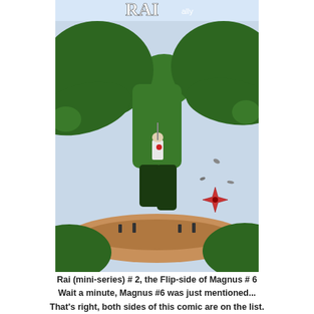[Figure (illustration): Comic book cover for Rai (mini-series) #2, showing a large green creature holding a small armored figure, with lush green vegetation, a pink/brown ground, and a compass star in the lower right corner.]
Rai (mini-series) # 2, the Flip-side of Magnus # 6
Wait a minute, Magnus #6 was just mentioned...
That's right, both sides of this comic are on the list.
(2 great covers for the price of 1!)
Number 8
[Figure (illustration): Partial view of a comic book cover for Harbinger, showing the Valiant logo with a star/compass in the upper left and the title 'HARBINGER' in large yellow letters on a red band, with a purple/blue starfield background.]